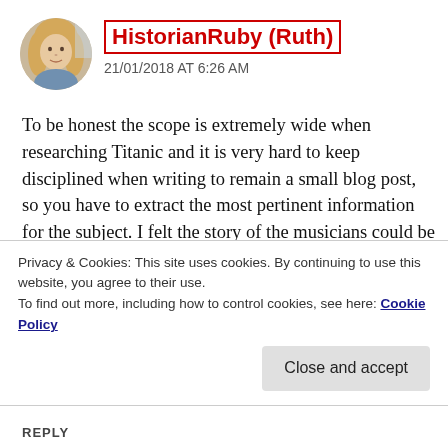[Figure (photo): Circular avatar photo of a blonde woman]
HistorianRuby (Ruth)
21/01/2018 AT 6:26 AM
To be honest the scope is extremely wide when researching Titanic and it is very hard to keep disciplined when writing to remain a small blog post, so you have to extract the most pertinent information for the subject. I felt the story of the musicians could be done in a smaller post, but I still couldn't manage less that 2,500 (approx) words. My blog is a platform to share history stories and if that then inspires others to research in more depth then
Privacy & Cookies: This site uses cookies. By continuing to use this website, you agree to their use.
To find out more, including how to control cookies, see here: Cookie Policy
Close and accept
REPLY